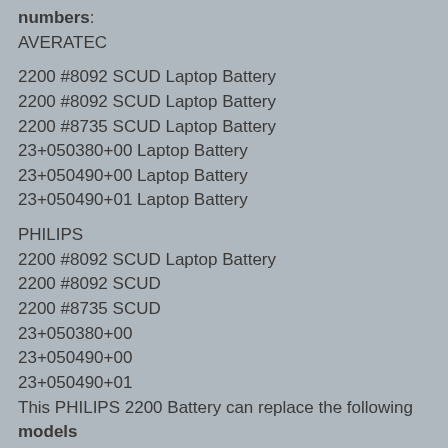numbers:
AVERATEC
2200 #8092 SCUD Laptop Battery
2200 #8092 SCUD Laptop Battery
2200 #8735 SCUD Laptop Battery
23+050380+00 Laptop Battery
23+050490+00 Laptop Battery
23+050490+01 Laptop Battery
PHILIPS
2200 #8092 SCUD Laptop Battery
2200 #8092 SCUD
2200 #8735 SCUD
23+050380+00
23+050490+00
23+050490+01
This PHILIPS 2200 Battery can replace the following models:
AVERATEC
2200 Series Laptop
2200 Series Laptop